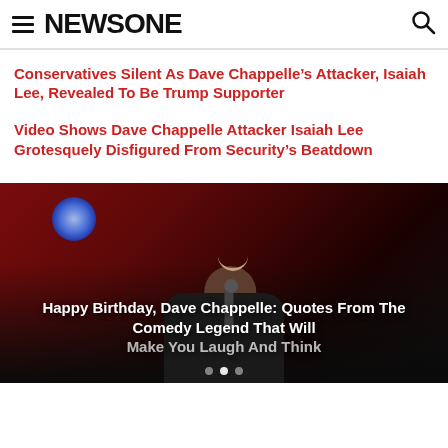NEWSONE
Conservatives Silent As Dave Chappelle’s Attacker, Isaiah Lee, Revealed To Be Trump Supporter
Video Shows Dave Chappelle Attacker Isaiah Lee Grotesquely Disfigured From Security’s Beatdown
[Figure (photo): Photo of Dave Chappelle smiling and holding a microphone on stage with a red backdrop and blue stage lighting, with caption overlay: Happy Birthday, Dave Chappelle: Quotes From The Comedy Legend That Will Make You Laugh And Think]